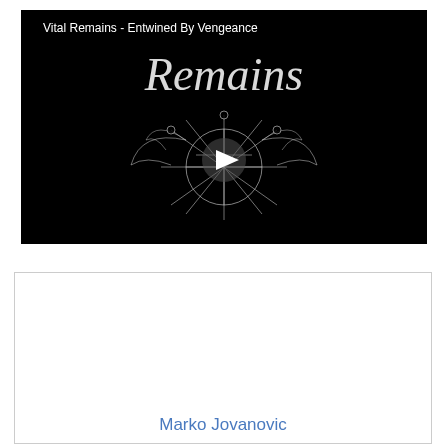[Figure (screenshot): Video thumbnail for 'Vital Remains - Entwined By Vengeance'. Black background with gothic 'Remains' text in white ornate lettering, a white play button triangle in the center, and occult/band imagery including a pentagram cross symbol with wings.]
Marko Jovanovic